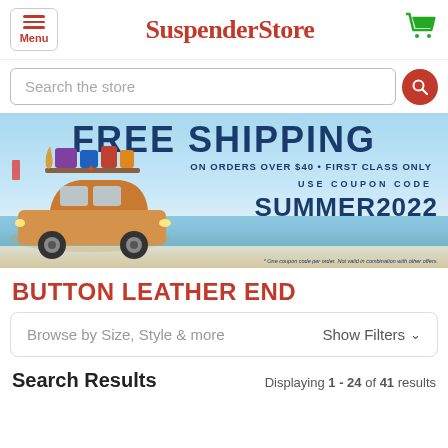SuspenderStore
Search the store
[Figure (infographic): Promotional banner for SuspenderStore showing FREE SHIPPING ON ORDERS OVER $40 • FIRST CLASS ONLY, USE COUPON CODE SUMMER2022, with a beach scene featuring a vintage car loaded with luggage and summer items on the roof.]
BUTTON LEATHER END
Browse by Size, Style & more   Show Filters ∨
Search Results
Displaying 1 - 24 of 41 results